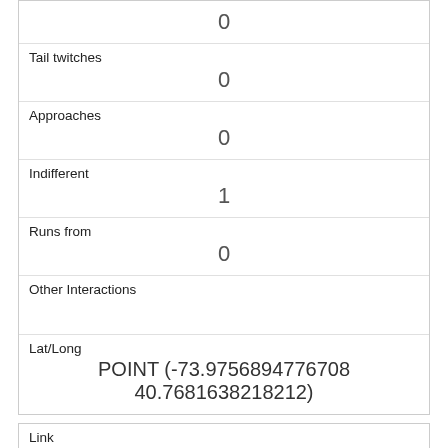|  | 0 |
| Tail twitches | 0 |
| Approaches | 0 |
| Indifferent | 1 |
| Runs from | 0 |
| Other Interactions |  |
| Lat/Long | POINT (-73.9756894776708 40.7681638218212) |
| Link | 2348 |
| rowid | 2348 |
| longitude | -73.9531965469704 |
| latitude |  |